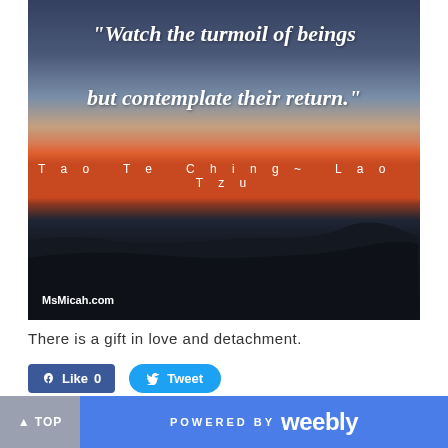[Figure (photo): Sunset landscape with dark silhouette of flat terrain and a hill, sky transitioning from dark blue at top through orange and red at horizon, with inspirational quote overlaid in white italic bold text and attribution below]
There is a gift in love and detachment.
Like 0
Tweet
▲ TOP   POWERED BY weebly